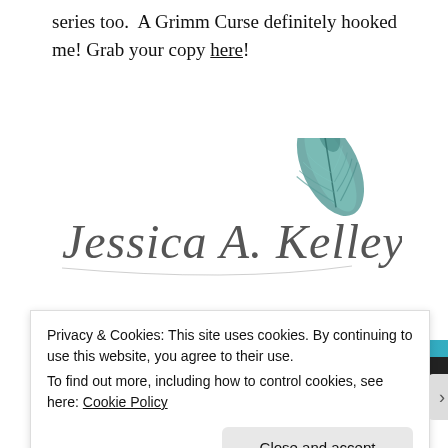series too.  A Grimm Curse definitely hooked me! Grab your copy here!
[Figure (illustration): Handwritten cursive signature 'Jessica A. Kelley' with a decorative teal/green feather illustration in the upper right area of the signature block.]
Advertisements
[Figure (screenshot): Blue and teal gradient advertisement banner with WordPress circle logo on the left and a dark button on the right.]
Privacy & Cookies: This site uses cookies. By continuing to use this website, you agree to their use.
To find out more, including how to control cookies, see here: Cookie Policy